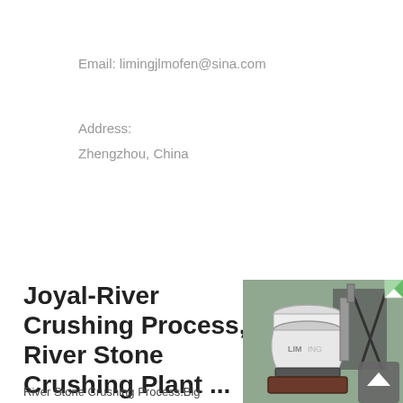Email: limingjlmofen@sina.com
Address:
Zhengzhou, China
Joyal-River Crushing Process, River Stone Crushing Plant ...
River Stone Crushing Process:Big
[Figure (photo): Industrial cone crusher machine (white/cream colored) in a factory setting, with LIMING branding visible. A scroll-to-top button overlay is present.]